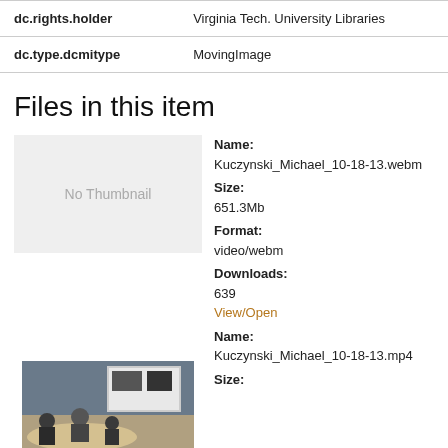| Field | Value |
| --- | --- |
| dc.rights.holder | Virginia Tech. University Libraries |
| dc.type.dcmitype | MovingImage |
Files in this item
[Figure (other): No Thumbnail placeholder box]
Name:
Kuczynski_Michael_10-18-13.webm
Size:
651.3Mb
Format:
video/webm
Downloads:
639
View/Open
Name:
Kuczynski_Michael_10-18-13.mp4
Size:
[Figure (photo): Thumbnail image showing people seated at a table in a conference room with a projection screen in the background]